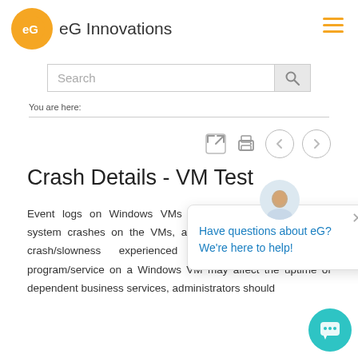[Figure (logo): eG Innovations logo: orange circle with stylized 'eG' icon, followed by text 'eG Innovations']
[Figure (other): Hamburger menu icon with three orange horizontal lines]
[Figure (screenshot): Search bar with placeholder text 'Search' and a magnifying glass button]
You are here:
[Figure (other): Toolbar with expand, print, back arrow, and forward arrow icons]
Crash Details - VM Test
Event logs on Windows VMs capture conditions such as system crashes on the VMs, and service errors. Since the crash/slowness experienced by any mission-critical program/service on a Windows VM may affect the uptime of dependent business services, administrators should
[Figure (other): Chat popup with avatar and text: Have questions about eG? We're here to help!]